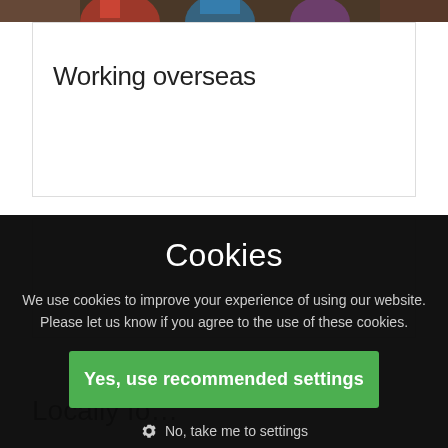[Figure (photo): Top strip of a photo showing children, partially visible]
Working overseas
[Figure (other): Empty white card placeholder]
Cookies
We use cookies to improve your experience of using our website. Please let us know if you agree to the use of these cookies.
Yes, use recommended settings
No, take me to settings
Locally fo...